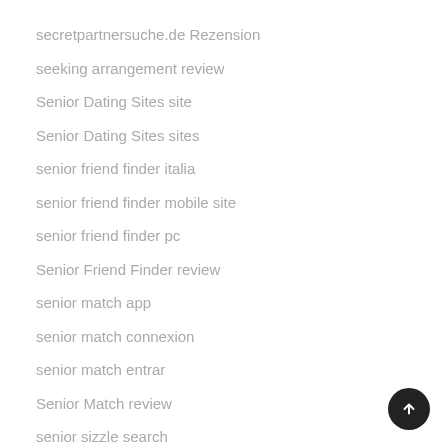secretpartnersuche.de Rezension
seeking arrangement review
Senior Dating Sites site
Senior Dating Sites sites
senior friend finder italia
senior friend finder mobile site
senior friend finder pc
Senior Friend Finder review
senior match app
senior match connexion
senior match entrar
Senior Match review
senior sizzle search